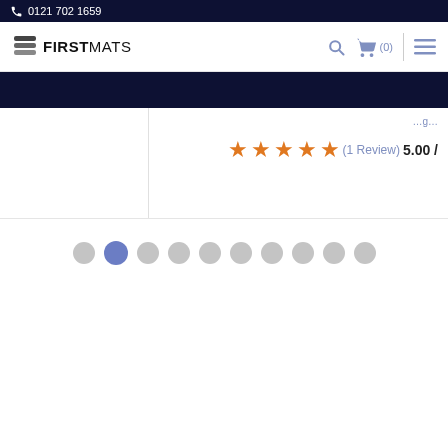0121 702 1659
[Figure (logo): First Mats logo with stacked layers icon and FIRSTMATS text]
(1 Review)  5.00 /
[Figure (infographic): Pagination dots — 10 circles, second one highlighted in blue/purple, rest in grey]